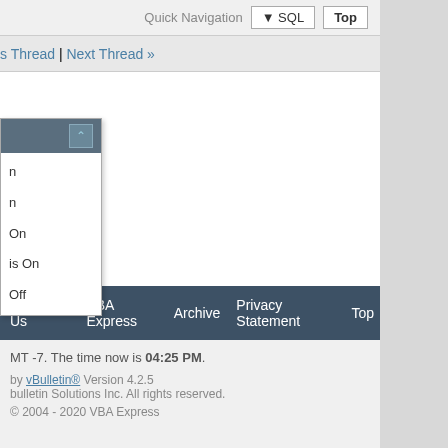Quick Navigation  ▼ SQL  Top
s Thread | Next Thread »
n
n
On
is On
Off
Contact Us  VBA Express  Archive  Privacy Statement  Top
MT -7. The time now is 04:25 PM.
by vBulletin® Version 4.2.5
bulletin Solutions Inc. All rights reserved.
© 2004 - 2020 VBA Express